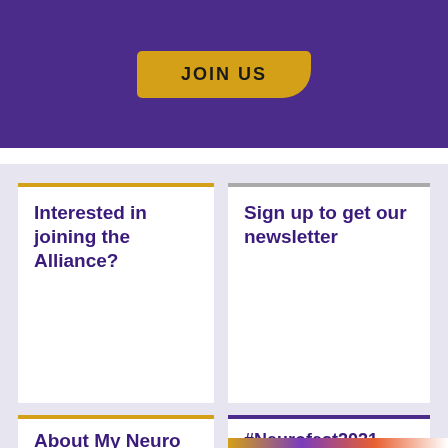[Figure (other): Purple banner background with a gold JOIN US button]
JOIN US
Interested in joining the Alliance?
Sign up to get our newsletter
About My Neuro Survey
#Neurofest2021
[Figure (photo): Partial photo strip at bottom right showing people]